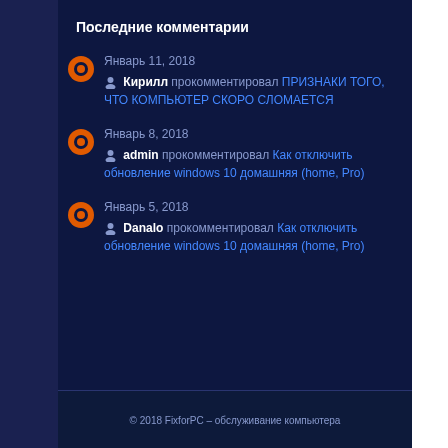Последние комментарии
Январь 11, 2018 — Кирилл прокомментировал ПРИЗНАКИ ТОГО, ЧТО КОМПЬЮТЕР СКОРО СЛОМАЕТСЯ
Январь 8, 2018 — admin прокомментировал Как отключить обновление windows 10 домашняя (home, Pro)
Январь 5, 2018 — Danalo прокомментировал Как отключить обновление windows 10 домашняя (home, Pro)
© 2018 FixforPC – обслуживание компьютера